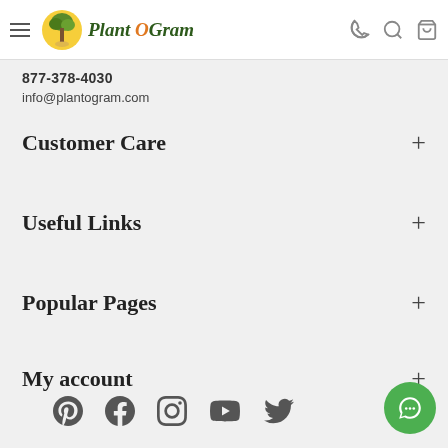Plant O Gram — hamburger menu, logo, phone icon, search icon, cart icon
877-378-4030
info@plantogram.com
Customer Care
Useful Links
Popular Pages
My account
[Figure (other): Social media icons row: Pinterest, Facebook, Instagram, YouTube, Twitter]
[Figure (other): Green chat bubble button in bottom-right corner]